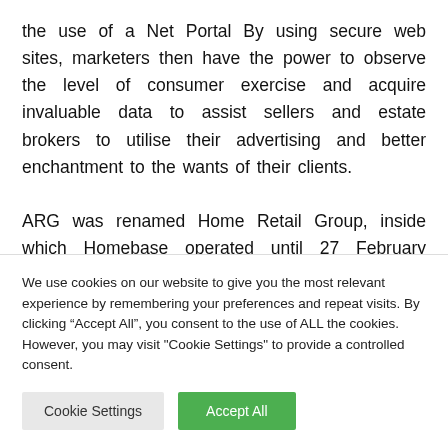the use of a Net Portal By using secure web sites, marketers then have the power to observe the level of consumer exercise and acquire invaluable data to assist sellers and estate brokers to utilise their advertising and better enchantment to the wants of their clients.
ARG was renamed Home Retail Group, inside which Homebase operated until 27 February 2016. I went to two more shops, one as far away as Venice, FL. I used to
We use cookies on our website to give you the most relevant experience by remembering your preferences and repeat visits. By clicking “Accept All”, you consent to the use of ALL the cookies. However, you may visit "Cookie Settings" to provide a controlled consent.